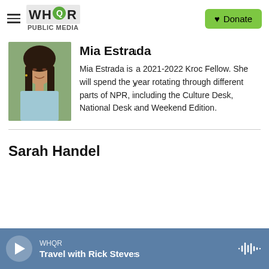WHQR PUBLIC MEDIA | Donate
Mia Estrada
[Figure (photo): Headshot of Mia Estrada, a young woman with long dark hair wearing a light blue patterned top, photographed outdoors.]
Mia Estrada is a 2021-2022 Kroc Fellow. She will spend the year rotating through different parts of NPR, including the Culture Desk, National Desk and Weekend Edition.
Sarah Handel
WHQR | Travel with Rick Steves